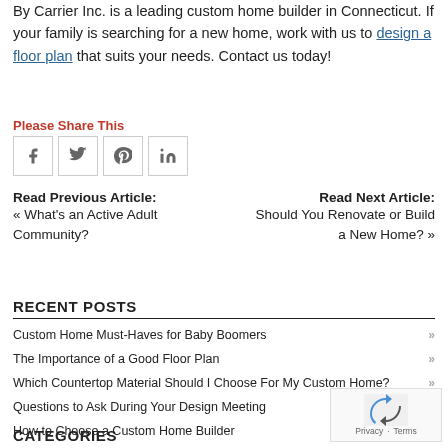By Carrier Inc. is a leading custom home builder in Connecticut. If your family is searching for a new home, work with us to design a floor plan that suits your needs. Contact us today!
Please Share This
[Figure (other): Social share buttons: Facebook, Twitter, Pinterest, LinkedIn]
Read Previous Article: « What's an Active Adult Community?
Read Next Article: Should You Renovate or Build a New Home? »
RECENT POSTS
Custom Home Must-Haves for Baby Boomers
The Importance of a Good Floor Plan
Which Countertop Material Should I Choose For My Custom Home?
Questions to Ask During Your Design Meeting
How to Choose a Custom Home Builder
CATEGORIES